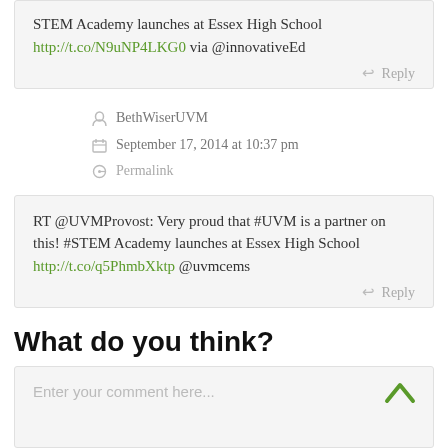STEM Academy launches at Essex High School http://t.co/N9uNP4LKG0 via @innovativeEd
Reply
BethWiserUVM
September 17, 2014 at 10:37 pm
Permalink
RT @UVMProvost: Very proud that #UVM is a partner on this! #STEM Academy launches at Essex High School http://t.co/q5PhmbXktp @uvmcems
Reply
What do you think?
Enter your comment here...